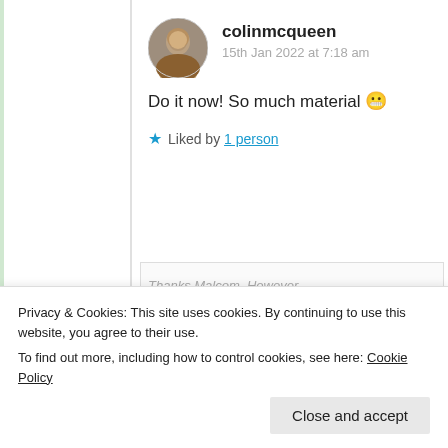[Figure (photo): Circular avatar photo of user colinmcqueen]
colinmcqueen
15th Jan 2022 at 7:18 am
Do it now! So much material 😬
★ Liked by 1 person
[Figure (illustration): Circular decorative avatar icon for user crispinunderfel]
crispinunderfel
Thanks Malcom. However,
Privacy & Cookies: This site uses cookies. By continuing to use this website, you agree to their use.
To find out more, including how to control cookies, see here: Cookie Policy
Close and accept